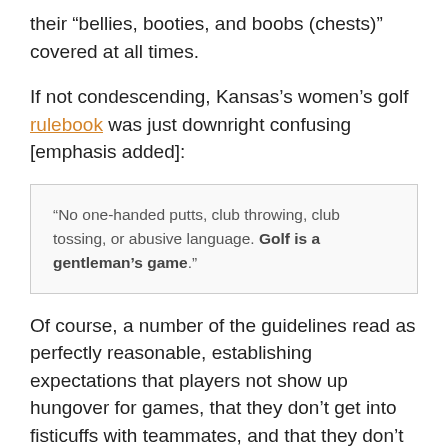their “bellies, booties, and boobs (chests)” covered at all times.
If not condescending, Kansas’s women’s golf rulebook was just downright confusing [emphasis added]:
“No one-handed putts, club throwing, club tossing, or abusive language. Golf is a gentleman’s game.”
Of course, a number of the guidelines read as perfectly reasonable, establishing expectations that players not show up hungover for games, that they don’t get into fisticuffs with teammates, and that they don’t trash locker rooms. Other rules even evinced a sense of moral wisdom: “I will respect all